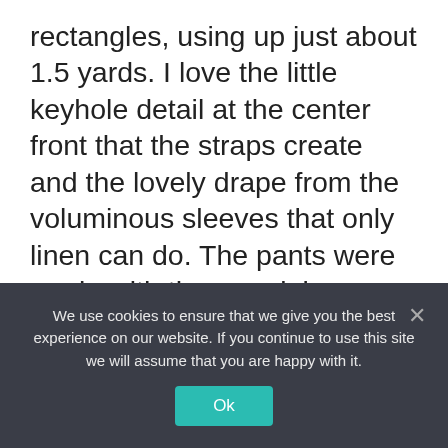rectangles, using up just about 1.5 yards. I love the little keyhole detail at the center front that the straps create and the lovely drape from the voluminous sleeves that only linen can do. The pants were made with the remaining yardage – they are the #ZWBlockPant with the front fly hack by Birgitta Helmersson and they were really cool to put together. It's such a well thought out and highly detailed pattern, especially with the fly hack, and works beautifully with the midweight line. I'll admit making these two garments wasn't entirely zero waste but
We use cookies to ensure that we give you the best experience on our website. If you continue to use this site we will assume that you are happy with it.